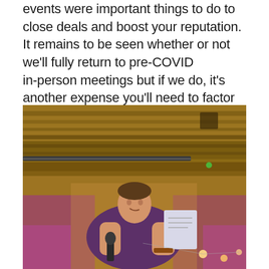events were important things to do to close deals and boost your reputation. It remains to be seen whether or not we'll fully return to pre-COVID in-person meetings but if we do, it's another expense you'll need to factor in.
[Figure (photo): A man in a purple t-shirt speaking into a microphone and holding papers, standing in a venue with exposed wooden ceiling beams and warm/purple lighting.]